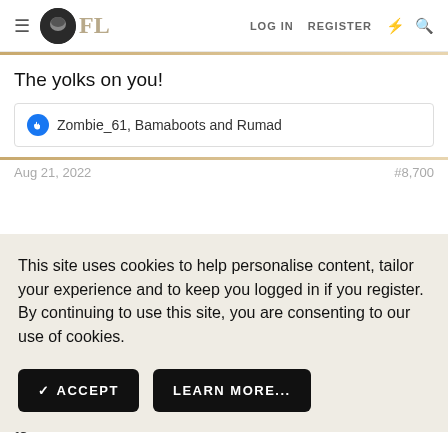FL | LOG IN | REGISTER
The yolks on you!
Zombie_61, Bamaboots and Rumad
This site uses cookies to help personalise content, tailor your experience and to keep you logged in if you register. By continuing to use this site, you are consenting to our use of cookies.
ACCEPT | LEARN MORE...
Get your kicks on Route 66!
I've been on Route 66. Disappointing; no one even tried to